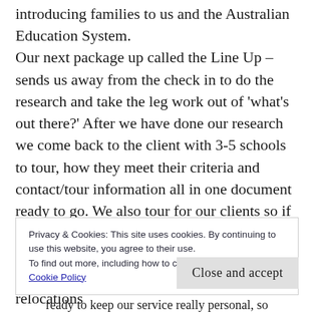introducing families to us and the Australian Education System. Our next package up called the Line Up – sends us away from the check in to do the research and take the leg work out of 'what's out there?' After we have done our research we come back to the client with 3-5 schools to tour, how they meet their criteria and contact/tour information all in one document ready to go. We also tour for our clients so if they have completed the Line Up, then they want us to tour, we can do that on their behalf, either charged as part of the full relocations
Privacy & Cookies: This site uses cookies. By continuing to use this website, you agree to their use. To find out more, including how to control cookies, see here: Cookie Policy
Close and accept
ready to keep our service really personal, so